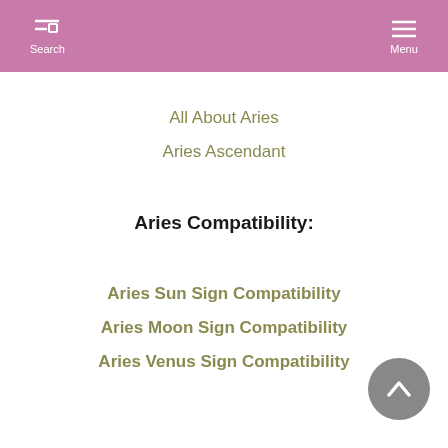Search  Menu
All About Aries
Aries Ascendant
Aries Compatibility:
Aries Sun Sign Compatibility
Aries Moon Sign Compatibility
Aries Venus Sign Compatibility